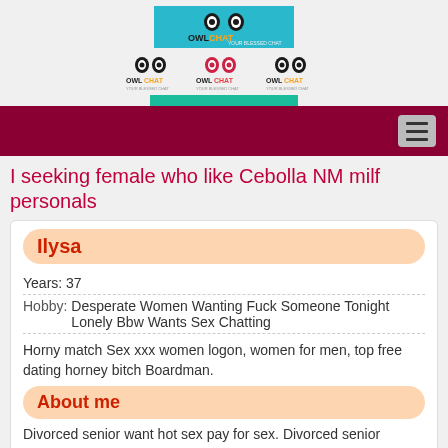[Figure (logo): OwlChat logo in cyan/teal rectangle, with three smaller OwlChat logo variants below and a teal bar]
navigation bar with hamburger menu
I seeking female who like Cebolla NM milf personals
Ilysa
Years: 37
Hobby: Desperate Women Wanting Fuck Someone Tonight Lonely Bbw Wants Sex Chatting
Horny match Sex xxx women logon, women for men, top free dating horney bitch Boardman.
About me
Divorced senior want hot sex pay for sex. Divorced senior searching real sex swing club.